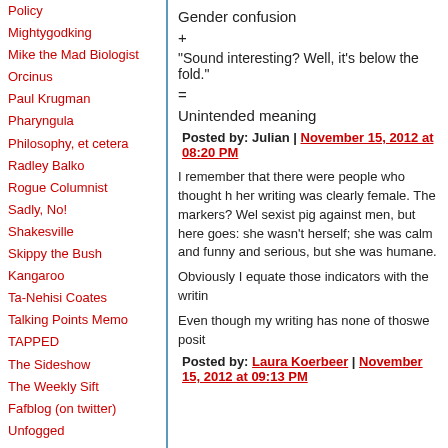Policy
Mightygodking
Mike the Mad Biologist
Orcinus
Paul Krugman
Pharyngula
Philosophy, et cetera
Radley Balko
Rogue Columnist
Sadly, No!
Shakesville
Skippy the Bush Kangaroo
Ta-Nehisi Coates
Talking Points Memo
TAPPED
The Sideshow
The Weekly Sift
Fafblog (on twitter)
Unfogged
Unqualified Offerings
Washington Monthly
Gender confusion
+
"Sound interesting? Well, it's below the fold."
=
Unintended meaning
Posted by: Julian | November 15, 2012 at 08:20 PM
I remember that there were people who thought her writing was clearly female. The markers? Well, I sound like a sexist pig against men, but here goes: she wasn't full of herself; she was calm and funny and serious, but she was humane.
Obviously I equate those indicators with the writing.
Even though my writing has none of thoswe posit
Posted by: Laura Koerbeer | November 15, 2012 at 09:13 PM